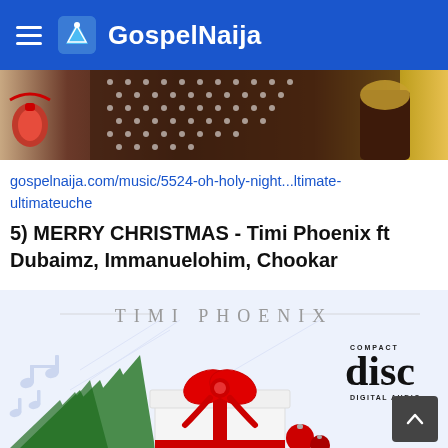GospelNaija
[Figure (photo): Cropped photo of a musician with a patterned fabric and red ribbon ornament]
gospelnaija.com/music/5524-oh-holy-night...ltimate-ultimateuche
5) MERRY CHRISTMAS - Timi Phoenix ft Dubaimz, Immanuelohim, Chookar
[Figure (photo): Album art for Timi Phoenix Merry Christmas single featuring a white gift box with red ribbon, pine branches, red ornament balls, music notes, and a Compact Disc Digital Audio logo]